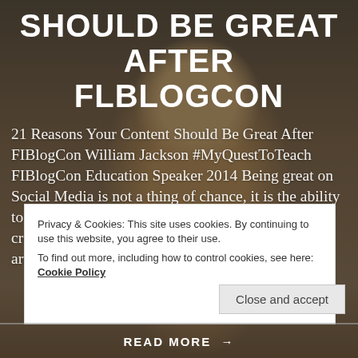SHOULD BE GREAT AFTER FLBLOGCON
21 Reasons Your Content Should Be Great After FIBlogCon William Jackson #MyQuestToTeach FIBlogCon Education Speaker 2014 Being great on Social Media is not a thing of chance, it is the ability to be comfortable in your digital life as a content creator, digital innovator, thought leader, graphic artist, [...]
Privacy & Cookies: This site uses cookies. By continuing to use this website, you agree to their use.
To find out more, including how to control cookies, see here: Cookie Policy
Close and accept
READ MORE →